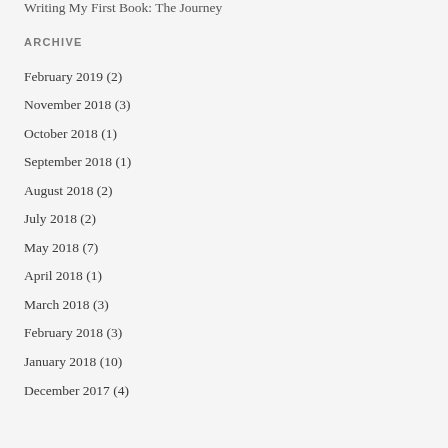Writing My First Book: The Journey
ARCHIVE
February 2019 (2)
November 2018 (3)
October 2018 (1)
September 2018 (1)
August 2018 (2)
July 2018 (2)
May 2018 (7)
April 2018 (1)
March 2018 (3)
February 2018 (3)
January 2018 (10)
December 2017 (4)